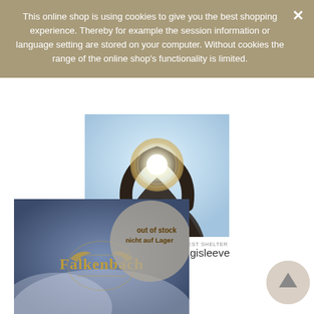This online shop is using cookies to give you the best shopping experience. Thereby for example the session information or language setting are stored on your computer. Without cookies the range of the online shop's functionality is limited.
[Figure (photo): Alcest Shelter album cover art showing a figure holding a bright glowing light against a sky background]
ALCEST SHELTER
Alcest - Shelter CD Digisleeve
9,98 € *
[Figure (photo): Falkenbach album cover with gold logo on misty blue background, overlaid with 'out of stock / nicht auf Lager' diagonal stamp]